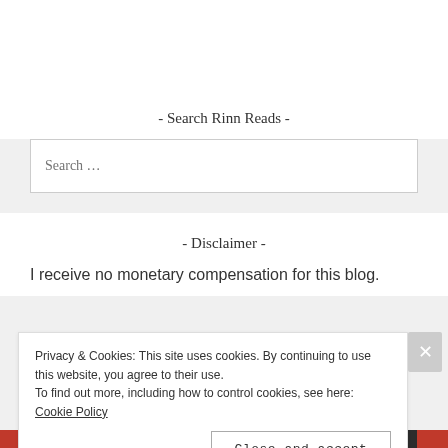- Search Rinn Reads -
Search …
- Disclaimer -
I receive no monetary compensation for this blog.
Privacy & Cookies: This site uses cookies. By continuing to use this website, you agree to their use. To find out more, including how to control cookies, see here: Cookie Policy
Close and accept